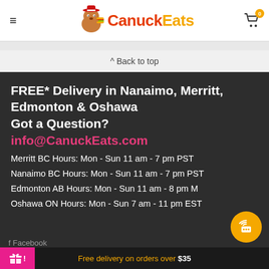CanuckEats
^ Back to top
FREE* Delivery in Nanaimo, Merritt, Edmonton & Oshawa
Got a Question?
info@CanuckEats.com
Merritt BC Hours: Mon - Sun 11 am - 7 pm PST
Nanaimo BC Hours: Mon - Sun 11 am - 7 pm PST
Edmonton AB Hours: Mon - Sun 11 am - 8 pm M
Oshawa ON Hours: Mon - Sun 7 am - 11 pm EST
Free delivery on orders over $35